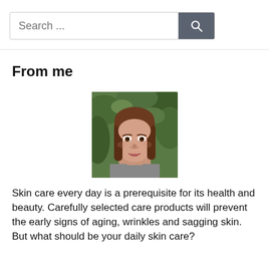[Figure (screenshot): Search bar UI element with text input placeholder 'Search ...' and a dark search button with magnifying glass icon]
From me
[Figure (photo): Portrait photo of a young woman with long brown hair, looking at the camera, with green foliage in the background]
Skin care every day is a prerequisite for its health and beauty. Carefully selected care products will prevent the early signs of aging, wrinkles and sagging skin. But what should be your daily skin care?